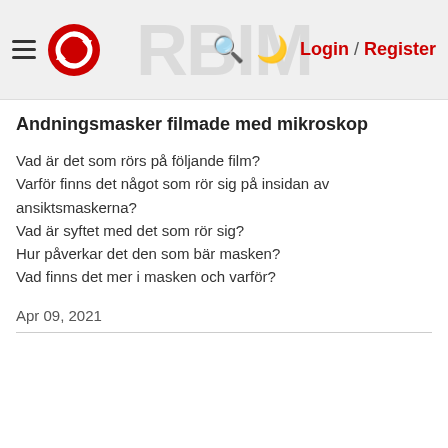Login / Register
Andningsmasker filmade med mikroskop
Vad är det som rörs på följande film?
Varför finns det något som rör sig på insidan av ansiktsmaskerna?
Vad är syftet med det som rör sig?
Hur påverkar det den som bär masken?
Vad finns det mer i masken och varför?
Apr 09, 2021